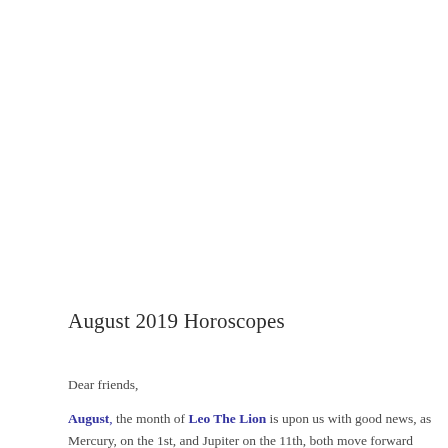August 2019 Horoscopes
Dear friends,
August, the month of Leo The Lion is upon us with good news, as Mercury, on the 1st, and Jupiter on the 11th, both move forward from reverse gear – retrograde motion. So this allows harmony, balance and